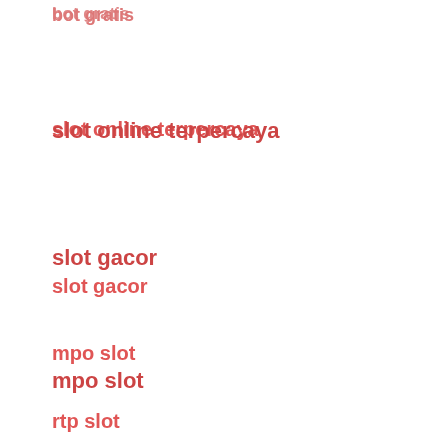slot online terpercaya
slot gacor
mpo slot
rtp slot
slot77
Vava4d